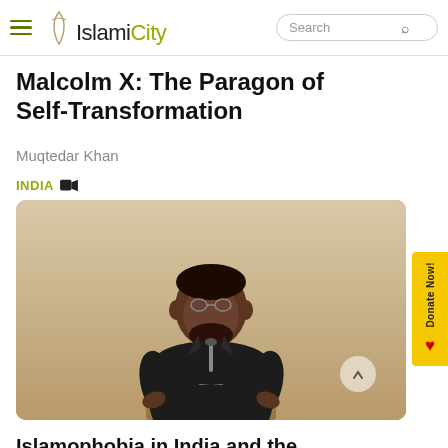IslamiCity
Malcolm X: The Paragon of Self-Transformation
Muqtedar Khan
INDIA
[Figure (photo): A man in a dark suit and red tie speaking at a podium with a microphone, in front of a beige/tan background.]
Islamophobia in India and the USA